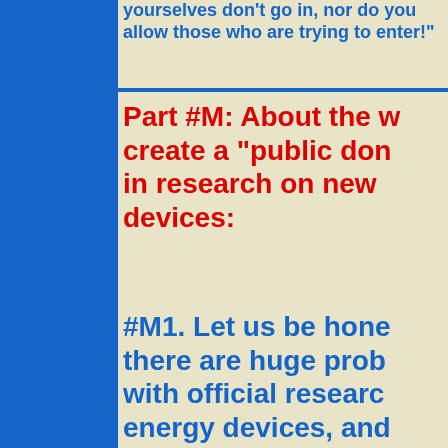yourselves don't go in, nor do you allow those who are trying to enter!"
Part #M: About the way to create a "public domain" in research on new energy devices:
#M1. Let us be honest - there are huge problems with official research on new energy devices, and "public domain" r...